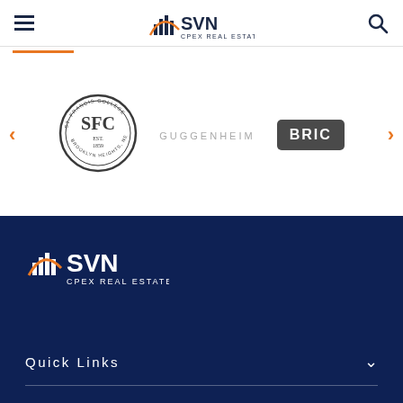SVN CPEX REAL ESTATE
[Figure (logo): SFC (St. Francis College) circular seal logo, established 1859, Brooklyn Heights New York]
[Figure (logo): GUGGENHEIM text logo in light grey spaced letters]
[Figure (logo): BRIC logo in white text on dark grey/charcoal rounded rectangle badge]
[Figure (logo): SVN CPEX REAL ESTATE footer logo in white on dark navy background]
Quick Links